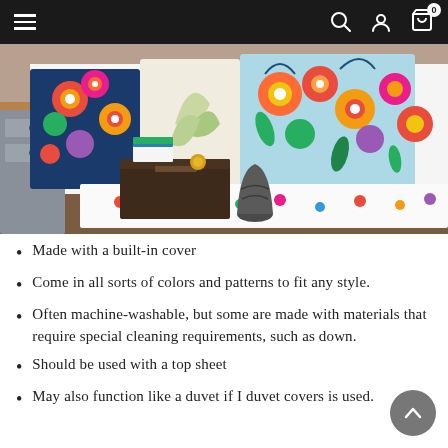Navigation bar with hamburger menu, search, account, and cart icons
[Figure (photo): Colorful patterned pillows and bedding (floral, paisley, bohemian prints in bright colors) displayed in a bedroom setting with a nightstand, books, and a dark vase on a wooden floor.]
Made with a built-in cover
Come in all sorts of colors and patterns to fit any style.
Often machine-washable, but some are made with materials that require special cleaning requirements, such as down.
Should be used with a top sheet
May also function like a duvet if I duvet covers is used.